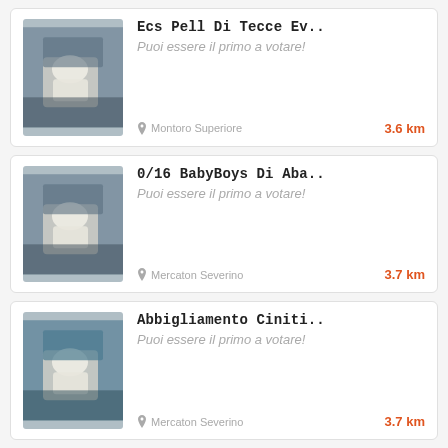[Figure (photo): Product thumbnail showing white handbag with person wearing white lace top]
Ecs Pell Di Tecce Ev..
Puoi essere il primo a votare!
Montoro Superiore  3.6 km
[Figure (photo): Product thumbnail showing white handbag with person wearing white lace top]
0/16 BabyBoys Di Aba..
Puoi essere il primo a votare!
Mercaton Severino  3.7 km
[Figure (photo): Product thumbnail showing white handbag with person wearing white lace top]
Abbigliamento Ciniti..
Puoi essere il primo a votare!
Mercaton Severino  3.7 km